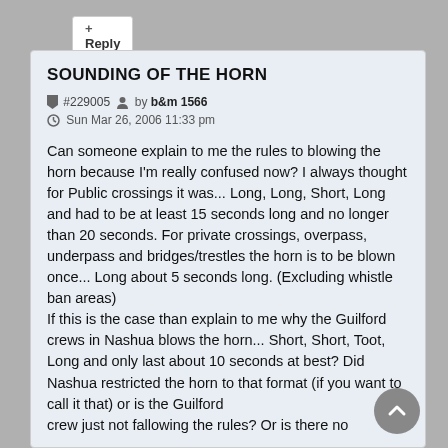+ Reply
SOUNDING OF THE HORN
#229005 by b&m 1566
Sun Mar 26, 2006 11:33 pm
Can someone explain to me the rules to blowing the horn because I'm really confused now? I always thought for Public crossings it was... Long, Long, Short, Long and had to be at least 15 seconds long and no longer than 20 seconds. For private crossings, overpass, underpass and bridges/trestles the horn is to be blown once... Long about 5 seconds long. (Excluding whistle ban areas)
If this is the case than explain to me why the Guilford crews in Nashua blows the horn... Short, Short, Toot, Long and only last about 10 seconds at best? Did Nashua restricted the horn to that format (if you want to call it that) or is the Guilford crew just not fallowing the rules? Or is there no